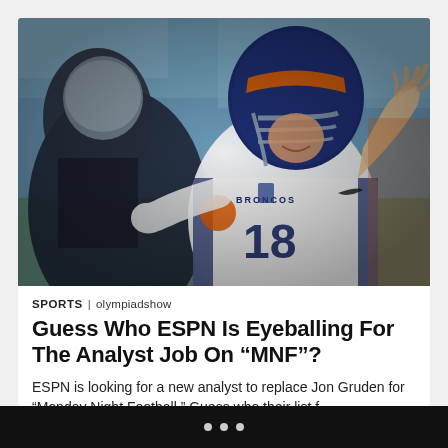[Figure (photo): NFL quarterback in Denver Broncos white jersey number 18 with hands raised, wearing blue helmet with face mask, calling a play at the line of scrimmage during what appears to be a Super Bowl game. A Carolina Panthers player in black jersey is visible in the foreground (blurred).]
SPORTS | olympiadshow
Guess Who ESPN Is Eyeballing For The Analyst Job On “MNF”?
ESPN is looking for a new analyst to replace Jon Gruden for “Monday Night Football.” Guess who their list f…